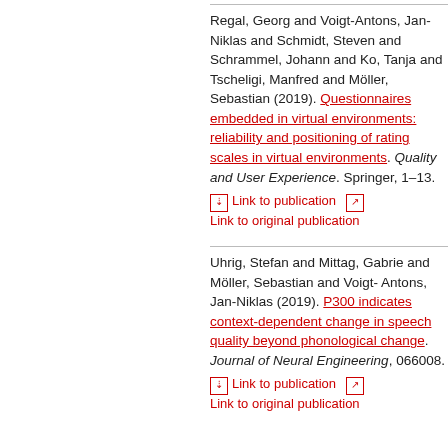Regal, Georg and Voigt-Antons, Jan-Niklas and Schmidt, Steven and Schrammel, Johann and Ko, Tanja and Tscheligi, Manfred and Möller, Sebastian (2019). Questionnaires embedded in virtual environments: reliability and positioning of rating scales in virtual environments. Quality and User Experience. Springer, 1–13.
Link to publication  Link to original publication
Uhrig, Stefan and Mittag, Gabriele and Möller, Sebastian and Voigt-Antons, Jan-Niklas (2019). P300 indicates context-dependent change in speech quality beyond phonological change. Journal of Neural Engineering, 066008.
Link to publication  Link to original publication